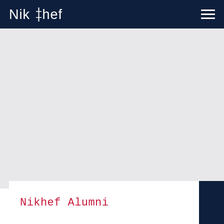Nikhef
[Figure (other): Light grey background area representing a hero/banner image placeholder]
Nikhef Alumni